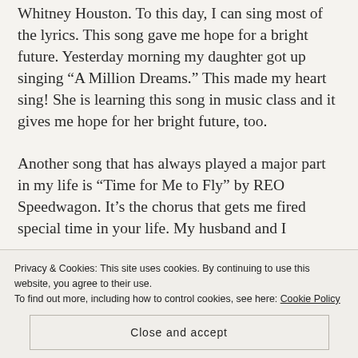Whitney Houston. To this day, I can sing most of the lyrics. This song gave me hope for a bright future. Yesterday morning my daughter got up singing “A Million Dreams.” This made my heart sing! She is learning this song in music class and it gives me hope for her bright future, too.

Another song that has always played a major part in my life is “Time for Me to Fly” by REO Speedwagon. It’s the chorus that gets me fired
Privacy & Cookies: This site uses cookies. By continuing to use this website, you agree to their use.
To find out more, including how to control cookies, see here: Cookie Policy
Close and accept
special time in your life. My husband and I